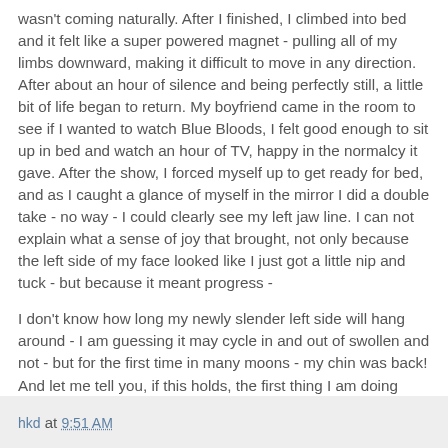wasn't coming naturally. After I finished, I climbed into bed and it felt like a super powered magnet - pulling all of my limbs downward, making it difficult to move in any direction. After about an hour of silence and being perfectly still, a little bit of life began to return. My boyfriend came in the room to see if I wanted to watch Blue Bloods, I felt good enough to sit up in bed and watch an hour of TV, happy in the normalcy it gave. After the show, I forced myself up to get ready for bed, and as I caught a glance of myself in the mirror I did a double take - no way - I could clearly see my left jaw line. I can not explain what a sense of joy that brought, not only because the left side of my face looked like I just got a little nip and tuck - but because it meant progress -
I don't know how long my newly slender left side will hang around - I am guessing it may cycle in and out of swollen and not - but for the first time in many moons - my chin was back! And let me tell you, if this holds, the first thing I am doing when I get home is heading to the DMV!
hkd at 9:51 AM